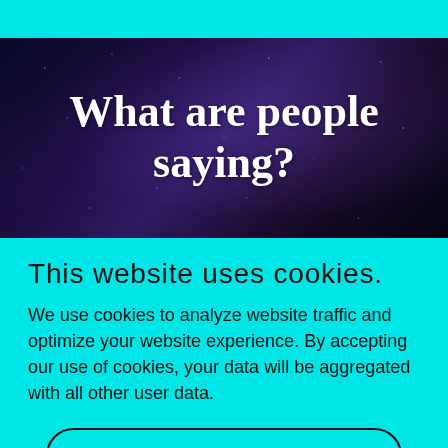[Figure (photo): Dark space/galaxy background image with purple/blue hues and stars, overlaid with bold white serif text reading 'What are people saying?']
This website uses cookies.
We use cookies to analyze website traffic and optimize your website experience. By accepting our use of cookies, your data will be aggregated with all other user data.
Accept